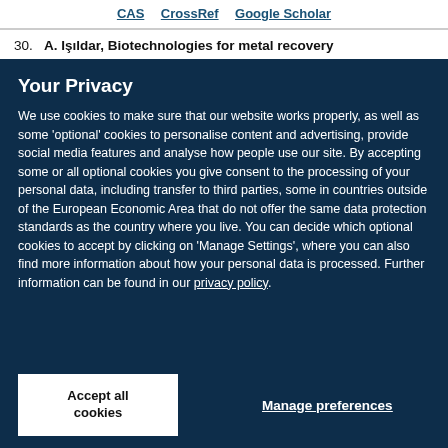CAS   CrossRef   Google Scholar
30. A. Işıldar, Biotechnologies for metal recovery
Your Privacy
We use cookies to make sure that our website works properly, as well as some 'optional' cookies to personalise content and advertising, provide social media features and analyse how people use our site. By accepting some or all optional cookies you give consent to the processing of your personal data, including transfer to third parties, some in countries outside of the European Economic Area that do not offer the same data protection standards as the country where you live. You can decide which optional cookies to accept by clicking on 'Manage Settings', where you can also find more information about how your personal data is processed. Further information can be found in our privacy policy.
Accept all cookies
Manage preferences